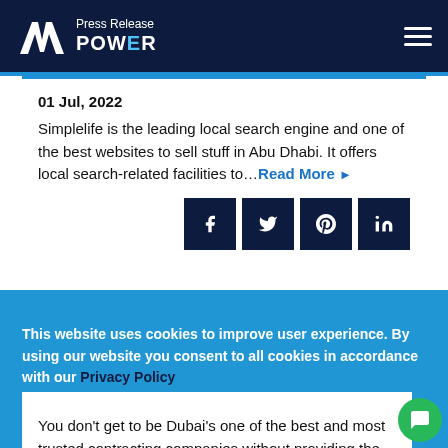Press Release POWER
01 Jul, 2022
Simplelife is the leading local search engine and one of the best websites to sell stuff in Abu Dhabi. It offers local search-related facilities to...Read More
[Figure (infographic): Social media share buttons: Facebook, Twitter, Pinterest, LinkedIn]
This website uses cookies to improve user experience. By using our website you consent to all cookies in accordance with our Privacy Policy
ACCEPT COOKIES
You don't get to be Dubai's one of the best and most trusted contracting companies without providing the